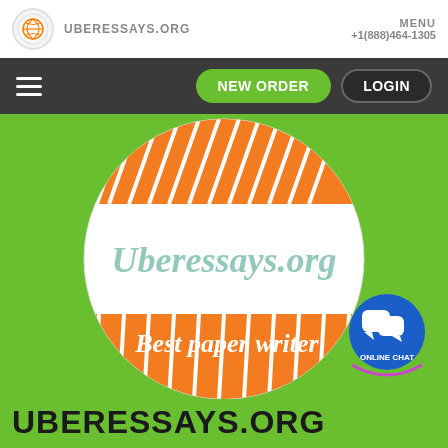[Figure (logo): Uberessays.org logo circle with orange globe icon, site name in grey, menu and phone number top right]
[Figure (screenshot): Dark navigation bar with hamburger menu, green NEW ORDER button, dark LOGIN button]
[Figure (logo): Circular badge logo: white circle with orange diagonal stripes top-left and bottom-right, text 'Uberessays.org' in teal italic and 'Best paper writer' in white italic on orange band]
[Figure (logo): Blue circular online chat button with speech bubble icons and 'ONLINE CHAT' text, purple arc below]
UBERESSAYS.ORG